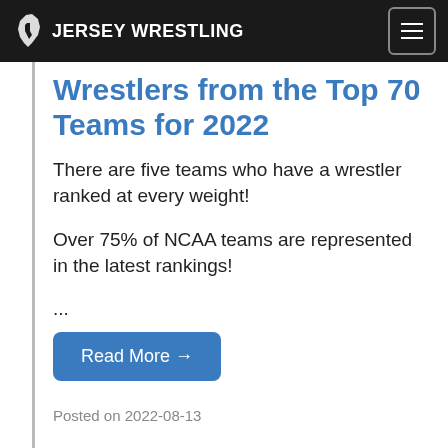JERSEY WRESTLING
Wrestlers from the Top 70 Teams for 2022
There are five teams who have a wrestler ranked at every weight!
Over 75% of NCAA teams are represented in the latest rankings!
...
Read More →
Posted on 2022-08-13